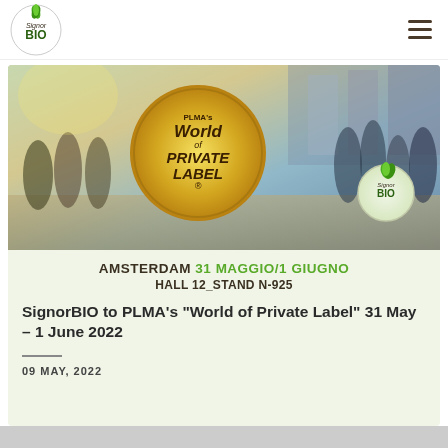SignorBIO
[Figure (photo): PLMA's World of Private Label event promotional image showing trade show attendees at Amsterdam, with gold circular badge reading PLMA's World of Private Label and SignorBIO logo. Text: AMSTERDAM 31 MAGGIO/1 GIUGNO HALL 12_STAND N-925]
SignorBIO to PLMA's "World of Private Label" 31 May – 1 June 2022
09 MAY, 2022